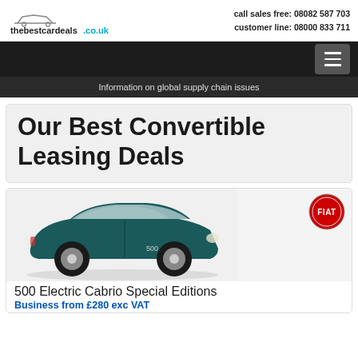thebestcardeals.co.uk | call sales free: 08082 587 703 | customer line: 08000 833 711
Information on global supply chain issues
Our Best Convertible Leasing Deals
[Figure (photo): Dark teal Fiat 500 Electric Cabrio Special Editions convertible car with Fiat logo badge]
500 Electric Cabrio Special Editions
Business from £280 exc VAT